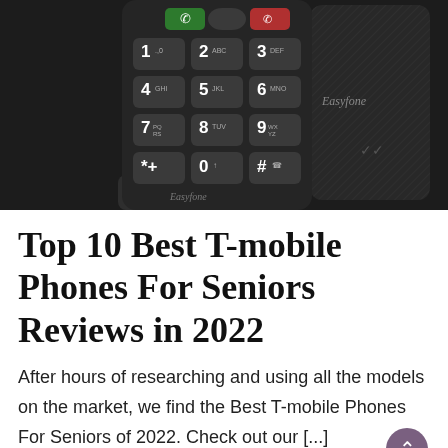[Figure (photo): Photo of an Easyfone brand senior mobile phone with large keypad buttons (1-9, *, 0, #), green call button, red end button, navigation button, shown next to its charging base. The phone back is visible on the right side showing the Easyfone brand name.]
Top 10 Best T-mobile Phones For Seniors Reviews in 2022
After hours of researching and using all the models on the market, we find the Best T-mobile Phones For Seniors of 2022. Check out our [...]